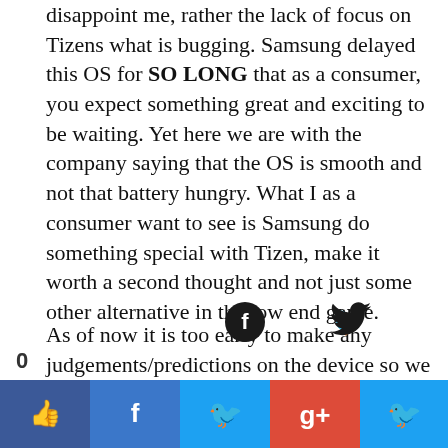disappoint me, rather the lack of focus on Tizens what is bugging. Samsung delayed this OS for SO LONG that as a consumer, you expect something great and exciting to be waiting. Yet here we are with the company saying that the OS is smooth and not that battery hungry. What I as a consumer want to see is Samsung do something special with Tizen, make it worth a second thought and not just some other alternative in the low end game.
As of now it is too early to make any judgements/predictions on the device so we will wait until we can see Tizen in action and will be sure to share our information and experiences with you. Stay tuned
[Figure (infographic): Social sharing bar at the bottom with Facebook, Twitter, Google+ icons and share buttons in blue, light blue, and red colors. Also shows a Facebook and Twitter icon above the bar with a count of 0.]